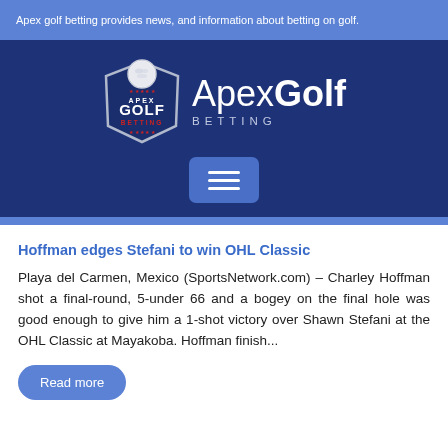Apex golf betting provides news, and information about betting on golf.
[Figure (logo): Apex Golf Betting logo: shield badge with golf ball on top, text APEX GOLF BETTING inside, alongside text 'ApexGolf BETTING']
Hoffman edges Stefani to win OHL Classic
Playa del Carmen, Mexico (SportsNetwork.com) – Charley Hoffman shot a final-round, 5-under 66 and a bogey on the final hole was good enough to give him a 1-shot victory over Shawn Stefani at the OHL Classic at Mayakoba. Hoffman finish...
Read more